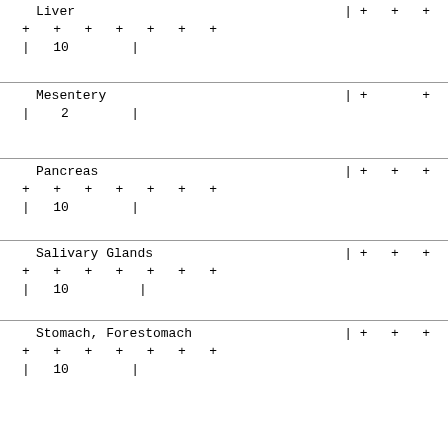| Liver | | + + + |
| + + + + + + + |  |
| | 10      | |  |
| Mesentery | | +       + |
| |  2      | |  |
| Pancreas | | + + + |
| + + + + + + + |  |
| | 10      | |  |
| Salivary Glands | | + + + |
| + + + + + + + |  |
| | 10      | |  |
| Stomach, Forestomach | | + + + |
| + + + + + + + |  |
| | 10      | |  |